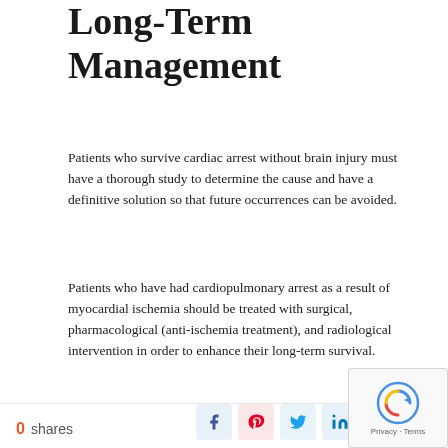Long-Term Management
Patients who survive cardiac arrest without brain injury must have a thorough study to determine the cause and have a definitive solution so that future occurrences can be avoided.
Patients who have had cardiopulmonary arrest as a result of myocardial ischemia should be treated with surgical, pharmacological (anti-ischemia treatment), and radiological intervention in order to enhance their long-term survival.
Candidates for implantable cardioverter-defibrillators include survivors of cardiopulmonary arrest caused by conditions such as hypertrophic cardiomyopathies, uncommon hereditary syndromes, right
0 shares